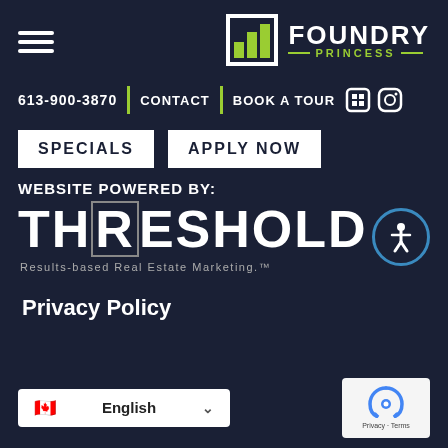[Figure (logo): Foundry Princess logo with bar chart icon and text]
613-900-3870 | CONTACT | BOOK A TOUR
SPECIALS  APPLY NOW
WEBSITE POWERED BY:
[Figure (logo): THRESHOLD - Results-based Real Estate Marketing logo with accessibility icon]
Privacy Policy
[Figure (other): Language selector showing English with Canadian flag and reCAPTCHA badge]